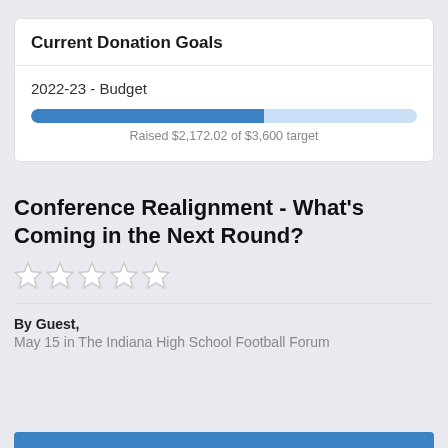Current Donation Goals
2022-23 - Budget
[Figure (other): Progress bar showing fundraising progress. Raised $2,172.02 of $3,600 target. Bar is approximately 60% filled in blue.]
Raised $2,172.02 of $3,600 target
Conference Realignment - What's Coming in the Next Round?
[Figure (other): Five empty/outline star rating icons in gray]
By Guest,
May 15 in The Indiana High School Football Forum